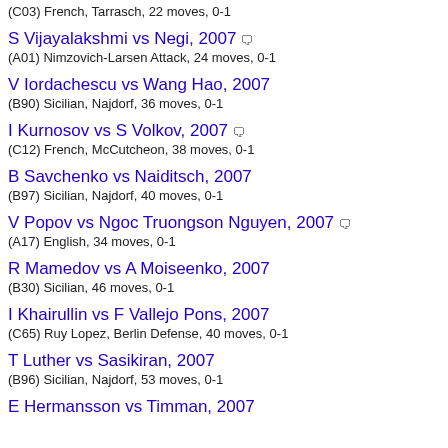(C03) French, Tarrasch, 22 moves, 0-1
S Vijayalakshmi vs Negi, 2007
(A01) Nimzovich-Larsen Attack, 24 moves, 0-1
V Iordachescu vs Wang Hao, 2007
(B90) Sicilian, Najdorf, 36 moves, 0-1
I Kurnosov vs S Volkov, 2007
(C12) French, McCutcheon, 38 moves, 0-1
B Savchenko vs Naiditsch, 2007
(B97) Sicilian, Najdorf, 40 moves, 0-1
V Popov vs Ngoc Truongson Nguyen, 2007
(A17) English, 34 moves, 0-1
R Mamedov vs A Moiseenko, 2007
(B30) Sicilian, 46 moves, 0-1
I Khairullin vs F Vallejo Pons, 2007
(C65) Ruy Lopez, Berlin Defense, 40 moves, 0-1
T Luther vs Sasikiran, 2007
(B96) Sicilian, Najdorf, 53 moves, 0-1
E Hermansson vs Timman, 2007